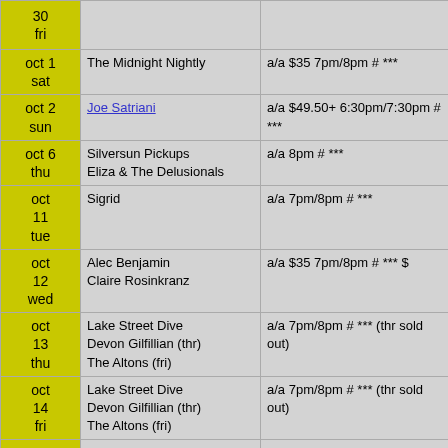| Date | Artist | Info |
| --- | --- | --- |
| 30
fri |  |  |
| oct 1
sat | The Midnight Nightly | a/a $35 7pm/8pm # *** |
| oct 2
sun | Joe Satriani | a/a $49.50+ 6:30pm/7:30pm # *** |
| oct 6
thu | Silversun Pickups
Eliza & The Delusionals | a/a 8pm # *** |
| oct
11
tue | Sigrid | a/a 7pm/8pm # *** |
| oct
12
wed | Alec Benjamin
Claire Rosinkranz | a/a $35 7pm/8pm # *** $ |
| oct
13
thu | Lake Street Dive
Devon Gilfillian (thr)
The Altons (fri) | a/a 7pm/8pm # *** (thr sold out) |
| oct
14
fri | Lake Street Dive
Devon Gilfillian (thr)
The Altons (fri) | a/a 7pm/8pm # *** (thr sold out) |
| oct
15
sat | Atmosphere
Blimes & Gab
Plain Ole Bill | a/a $39.50 7pm/8pm # *** |
| oct
19
wed | One OK Rock
You Me At Six
Fame On Fire | a/a $35 6:30pm/7:30pm # *** |